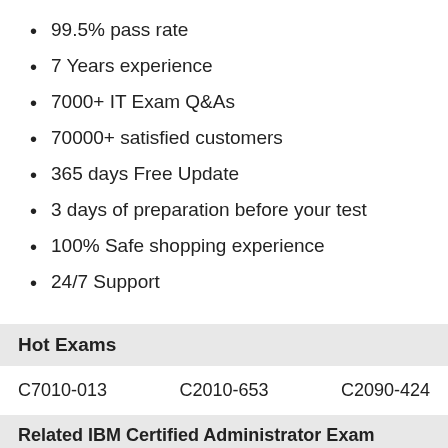99.5% pass rate
7 Years experience
7000+ IT Exam Q&As
70000+ satisfied customers
365 days Free Update
3 days of preparation before your test
100% Safe shopping experience
24/7 Support
Hot Exams
C7010-013   C2010-653   C2090-424
Related IBM Certified Administrator Exam DUMPS